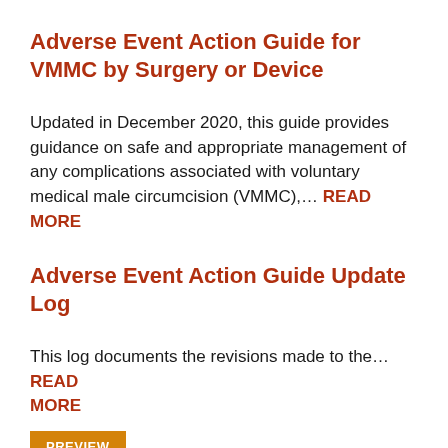Adverse Event Action Guide for VMMC by Surgery or Device
Updated in December 2020, this guide provides guidance on safe and appropriate management of any complications associated with voluntary medical male circumcision (VMMC),… READ MORE
Adverse Event Action Guide Update Log
This log documents the revisions made to the… READ MORE
PREVIEW
Adverse Event Action Guide for VMMC by Surgery or Device, 2nd Edition, Updated